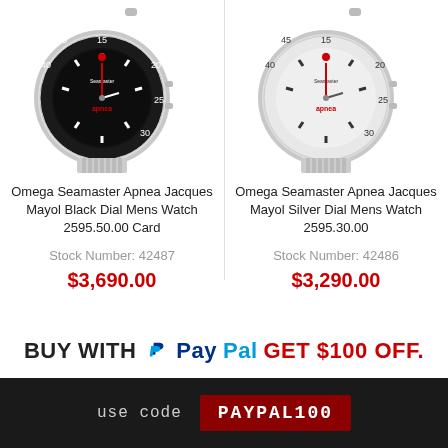[Figure (photo): Omega Seamaster Apnea Jacques Mayol watch with black dial, silver case and bracelet, red crown/hands, rotating bezel with dive markings]
Omega Seamaster Apnea Jacques Mayol Black Dial Mens Watch 2595.50.00 Card
Stock Number: 42487
$3,690.00
[Figure (photo): Omega Seamaster Apnea Jacques Mayol watch with silver/white dial, silver case and bracelet, red crown/hands, rotating bezel with dive markings]
Omega Seamaster Apnea Jacques Mayol Silver Dial Mens Watch 2595.30.00
Stock Number: 42486
$3,290.00
BUY WITH PayPal GET $100 OFF.
use code PAYPAL100